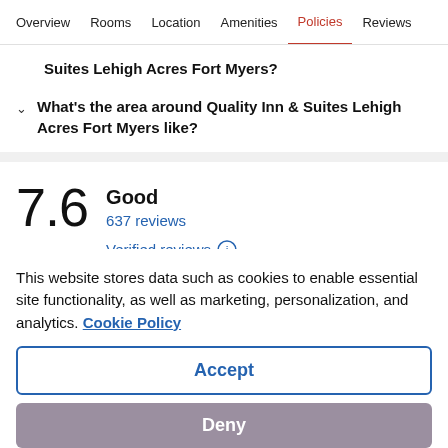Overview  Rooms  Location  Amenities  Policies  Reviews
Suites Lehigh Acres Fort Myers?
What's the area around Quality Inn & Suites Lehigh Acres Fort Myers like?
7.6  Good  637 reviews  Verified reviews
This website stores data such as cookies to enable essential site functionality, as well as marketing, personalization, and analytics. Cookie Policy
Accept
Deny